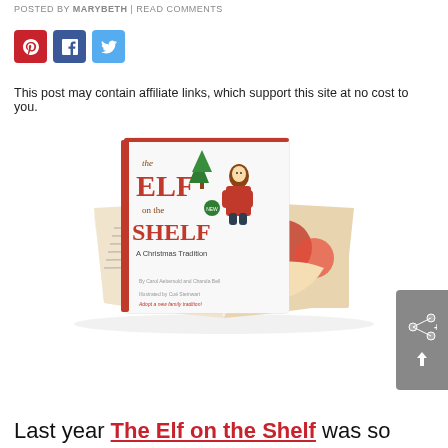POSTED BY MARYBETH | READ COMMENTS
[Figure (infographic): Three social media share buttons: Pinterest (red), Facebook (dark blue), Twitter (light blue)]
This post may contain affiliate links, which support this site at no cost to you.
[Figure (photo): The Elf on the Shelf book set showing the hardcover book with elf character sitting on top, and the open book with Christmas-themed illustrations]
Last year The Elf on the Shelf was so